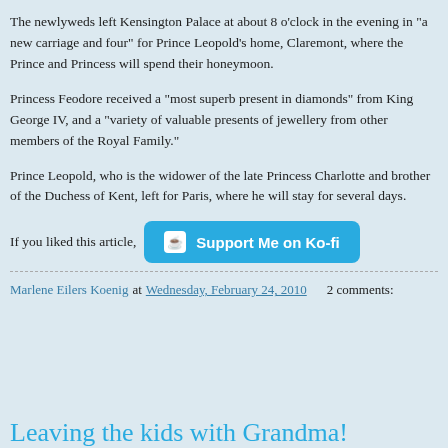The newlyweds left Kensington Palace at about 8 o'clock in the evening in "a new carriage and four" for Prince Leopold's home, Claremont, where the Prince and Princess will spend their honeymoon.
Princess Feodore received a "most superb present in diamonds" from King George IV, and a "variety of valuable presents of jewellery from other members of the Royal Family."
Prince Leopold, who is the widower of the late Princess Charlotte and brother of the Duchess of Kent, left for Paris, where he will stay for several days.
If you liked this article,
[Figure (other): Ko-fi support button with coffee cup icon and text 'Support Me on Ko-fi' in blue rounded rectangle]
Marlene Eilers Koenig at Wednesday, February 24, 2010   2 comments:
Leaving the kids with Grandma!